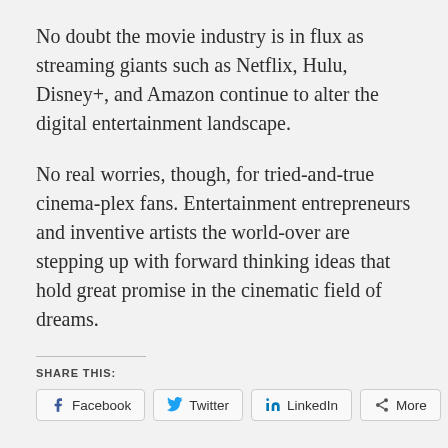No doubt the movie industry is in flux as streaming giants such as Netflix, Hulu, Disney+, and Amazon continue to alter the digital entertainment landscape.
No real worries, though, for tried-and-true cinema-plex fans. Entertainment entrepreneurs and inventive artists the world-over are stepping up with forward thinking ideas that hold great promise in the cinematic field of dreams.
SHARE THIS:
Facebook   Twitter   LinkedIn   More